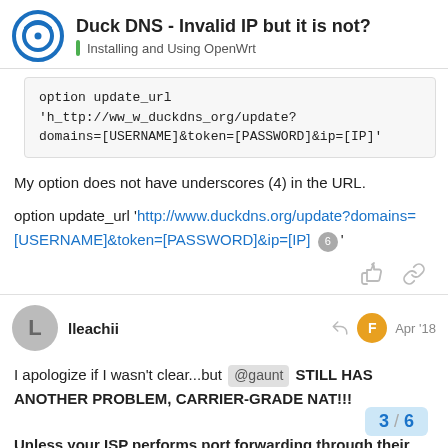Duck DNS - Invalid IP but it is not? | Installing and Using OpenWrt
option update_url 'h_ttp://ww_w_duckdns_org/update?domains=[USERNAME]&token=[PASSWORD]&ip=[IP]'
My option does not have underscores (4) in the URL.
option update_url 'http://www.duckdns.org/update?domains=[USERNAME]&token=[PASSWORD]&ip=[IP]' 6
lleachii Apr '18
I apologize if I wasn't clear...but @gaunt STILL HAS ANOTHER PROBLEM, CARRIER-GRADE NAT!!! Unless your ISP performs port forwarding through their carrier-grade NAT system, a DDNS script for INBOUND ACCESS TO YOUR DEVICE
3 / 6